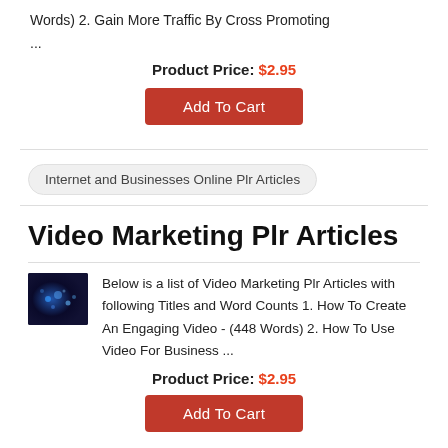Words) 2. Gain More Traffic By Cross Promoting
...
Product Price: $2.95
Add To Cart
Internet and Businesses Online Plr Articles
Video Marketing Plr Articles
Below is a list of Video Marketing Plr Articles with following Titles and Word Counts 1. How To Create An Engaging Video - (448 Words) 2. How To Use Video For Business ...
Product Price: $2.95
Add To Cart